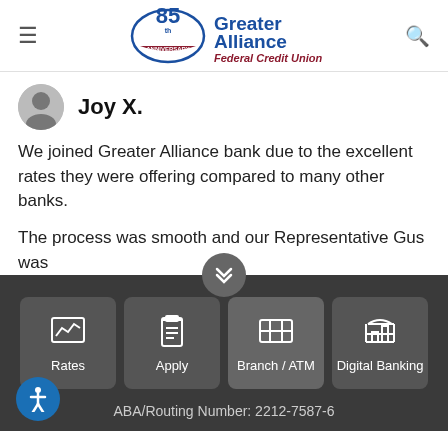Greater Alliance Federal Credit Union — 85th Anniversary
Joy X.
We joined Greater Alliance bank due to the excellent rates they were offering compared to many other banks.
The process was smooth and our Representative Gus was
[Figure (other): Navigation footer with four buttons: Rates (line chart icon), Apply (clipboard icon), Branch / ATM (map icon), Digital Banking (bank building icon)]
ABA/Routing Number: 2212-7587-6